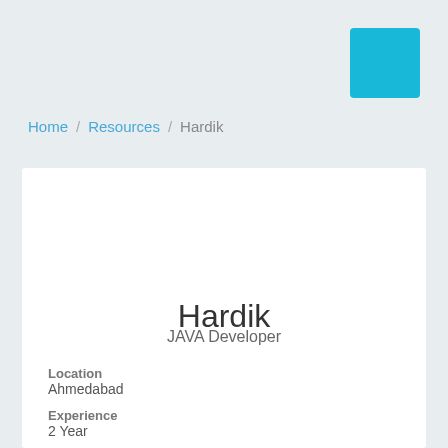[Figure (other): Cyan/teal colored square button in top right corner of page header]
Home / Resources / Hardik
Hardik
JAVA Developer
Location
Ahmedabad
Experience
2 Year